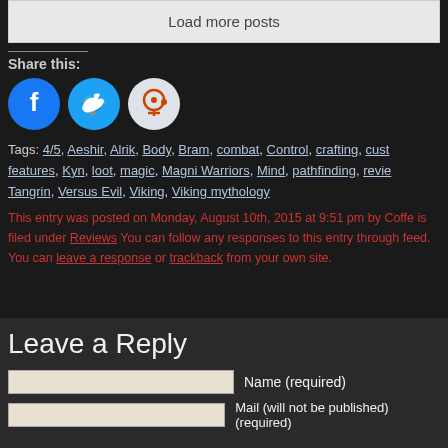Load more posts
Share this:
[Figure (infographic): Three social share buttons: Facebook (blue circle), Twitter (light blue circle), Reddit (light grey circle)]
Tags: 4/5, Aeshir, Alrik, Body, Bram, combat, Control, crafting, cust... features, Kyn, loot, magic, Magni Warriors, Mind, pathfinding, revie... Tangrin, Versus Evil, Viking, Viking mythology
This entry was posted on Monday, August 10th, 2015 at 9:51 pm by Coffe is filed under Reviews. You can follow any responses to this entry through feed. You can leave a response, or trackback from your own site.
Leave a Reply
Name (required)
Mail (will not be published) (required)